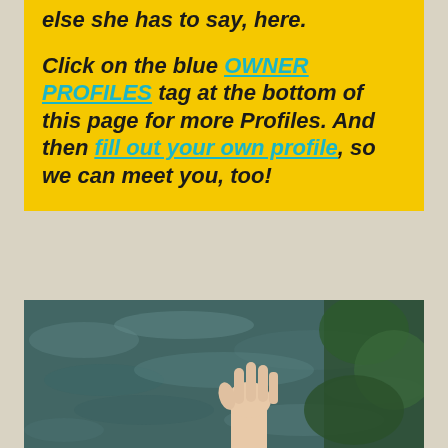else she has to say, here. Click on the blue OWNER PROFILES tag at the bottom of this page for more Profiles. And then fill out your own profile, so we can meet you, too!
[Figure (photo): A hand raised up against a background of rippling water and green foliage]